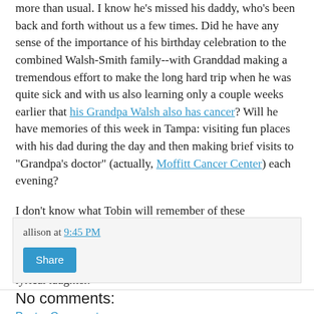more than usual. I know he's missed his daddy, who's been back and forth without us a few times. Did he have any sense of the importance of his birthday celebration to the combined Walsh-Smith family--with Granddad making a tremendous effort to make the long hard trip when he was quite sick and with us also learning only a couple weeks earlier that his Grandpa Walsh also has cancer? Will he have memories of this week in Tampa: visiting fun places with his dad during the day and then making brief visits to "Grandpa's doctor" (actually, Moffitt Cancer Center) each evening?
I don't know what Tobin will remember of these experiences, but I do hope that he will always understand what a blessing he is to us. How he lights up our hearts and lifts our spirits with his wonderful smile, funny syntax, and lyrical laughter.
allison at 9:45 PM
Share
No comments:
Post a Comment